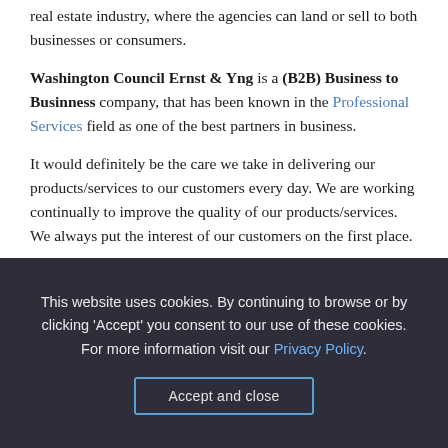real estate industry, where the agencies can land or sell to both businesses or consumers.
Washington Council Ernst & Yng is a (B2B) Business to Businness company, that has been known in the Professional Services field as one of the best partners in business.
It would definitely be the care we take in delivering our products/services to our customers every day. We are working continually to improve the quality of our products/services. We always put the interest of our customers on the first place.
This website uses cookies. By continuing to browse or by clicking 'Accept' you consent to our use of these cookies. For more information visit our Privacy Policy.